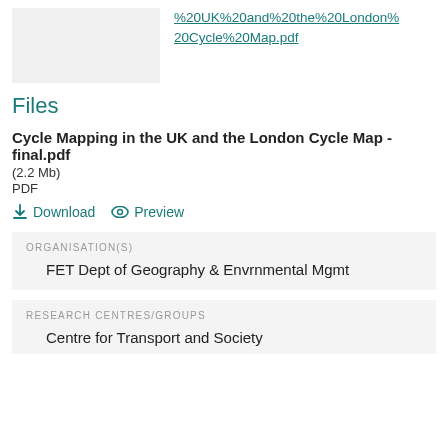%20UK%20and%20the%20London%20Cycle%20Map.pdf
Files
Cycle Mapping in the UK and the London Cycle Map - final.pdf
(2.2 Mb)
PDF
Download   Preview
ORGANISATION(S)
FET Dept of Geography & Envrnmental Mgmt
RESEARCH CENTRES/GROUPS
Centre for Transport and Society